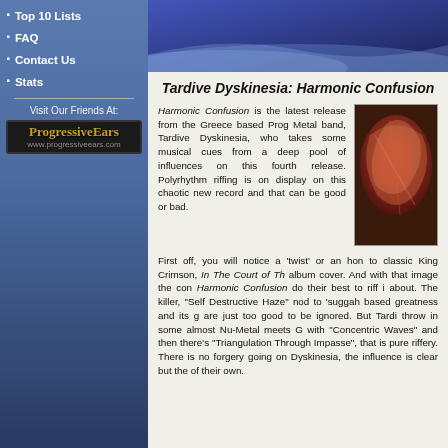· Top 10 Lists
· FAQ
· Contact Us
· Stats
Visit Our Friends At:
[Figure (logo): ProgressiveEars logo with stylized text and www.progressiveears.com URL]
[Figure (illustration): Blue banner/header area with wave design]
Tardive Dyskinesia: Harmonic Confusion
Harmonic Confusion is the latest release from the Greece based Prog Metal band, Tardive Dyskinesia, who takes some musical cues from a deep pool of influences on this fourth release. Polyrhythm riffing is on display on this chaotic new record and that can be good or bad.
[Figure (illustration): Album cover art for Harmonic Confusion showing swirling red/brown abstract face imagery]
First off, you will notice a 'twist' or an hon to classic King Crimson, In The Court of Th album cover. And with that image the con Harmonic Confusion do their best to riff i about. The killer, "Self Destructive Haze" nod to 'suggah based greatness and its g are just too good to be ignored. But Tardi throw in some almost Nu-Metal meets G with "Concentric Waves" and then there's "Triangulation Through Impasse", that is pure riffery. There is no forgery going on Dyskinesia, the influence is clear but the of their own.